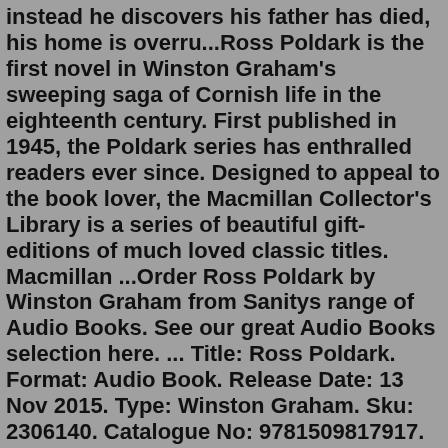instead he discovers his father has died, his home is overru...Ross Poldark is the first novel in Winston Graham's sweeping saga of Cornish life in the eighteenth century. First published in 1945, the Poldark series has enthralled readers ever since. Designed to appeal to the book lover, the Macmillan Collector's Library is a series of beautiful gift-editions of much loved classic titles. Macmillan ...Order Ross Poldark by Winston Graham from Sanitys range of Audio Books. See our great Audio Books selection here. ... Title: Ross Poldark. Format: Audio Book. Release Date: 13 Nov 2015. Type: Winston Graham. Sku: 2306140. Catalogue No: 9781509817917. Category: Audio BooksAs Seen on Masterpiece on PBS®: Book 1 of the beloved Poldark seriesIn the first novel in Winston Graham's hit series, a weary Ross Poldark returns to England from war, looking forward to a joyful homecoming with his beloved Elizabeth. But instead he discovers his father has died, his home is overru...Ross Poldark is the first novel in Winston Graham's hugely popular Poldark